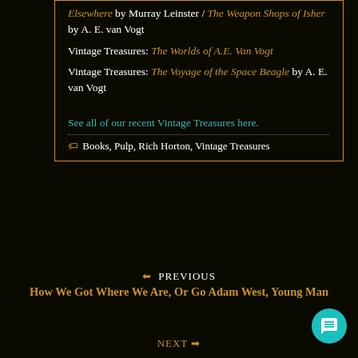Elsewhere by Murray Leinster / The Weapon Shops of Isher by A. E. van Vogt
Vintage Treasures: The Worlds of A.E. Van Vogt
Vintage Treasures: The Voyage of the Space Beagle by A. E. van Vogt
See all of our recent Vintage Treasures here.
🏷 Books, Pulp, Rich Horton, Vintage Treasures
⬅ PREVIOUS
How We Got Where We Are, Or Go Adam West, Young Man
NEXT ➡